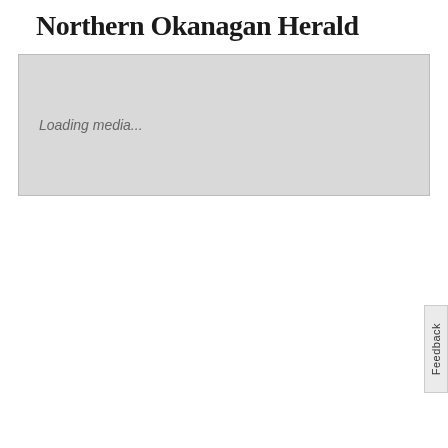Northern Okanagan Herald
[Figure (other): Media loading placeholder box with text 'Loading media...']
Feedback